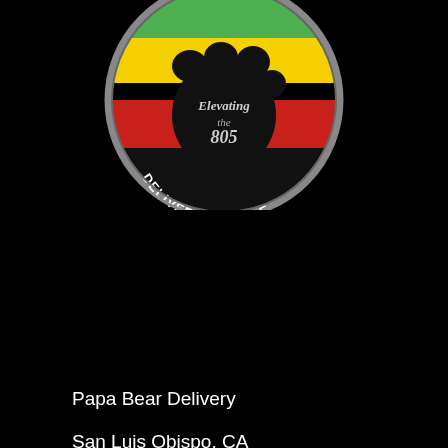[Figure (logo): Papa Bear Delivery Service logo: circular badge with green, yellow, and red horizontal stripes, a large black bear paw print in the center, script text 'Elevating the 805' overlaid on the paw, and 'DELIVERY SERVICE' text along the bottom arc in white bold lettering. Gray outer ring border.]
Papa Bear Delivery
San Luis Obispo, CA
Phone: (805) 576-WEED(9333)
contact@805delivery.com